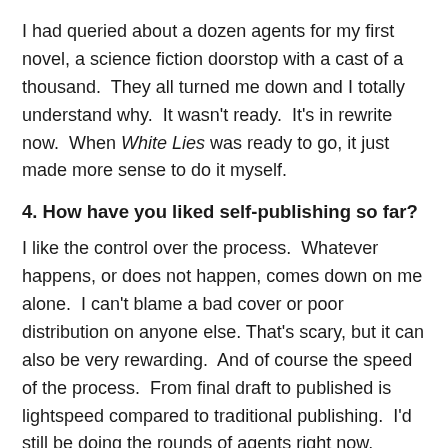I had queried about a dozen agents for my first novel, a science fiction doorstop with a cast of a thousand.  They all turned me down and I totally understand why.  It wasn't ready.  It's in rewrite now.  When White Lies was ready to go, it just made more sense to do it myself.
4. How have you liked self-publishing so far?
I like the control over the process.  Whatever happens, or does not happen, comes down on me alone.  I can't blame a bad cover or poor distribution on anyone else. That's scary, but it can also be very rewarding.  And of course the speed of the process.  From final draft to published is lightspeed compared to traditional publishing.  I'd still be doing the rounds of agents right now.
5. Tell me about the marketing techniques you've used